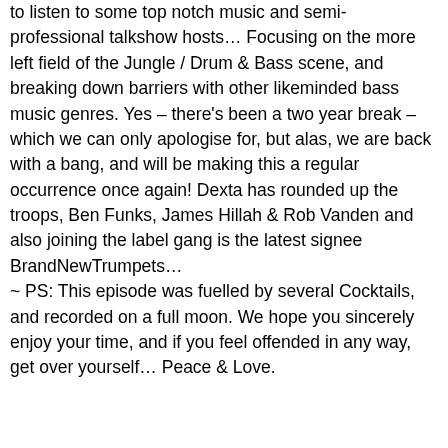to listen to some top notch music and semi-professional talkshow hosts… Focusing on the more left field of the Jungle / Drum & Bass scene, and breaking down barriers with other likeminded bass music genres. Yes – there's been a two year break – which we can only apologise for, but alas, we are back with a bang, and will be making this a regular occurrence once again! Dexta has rounded up the troops, Ben Funks, James Hillah & Rob Vanden and also joining the label gang is the latest signee BrandNewTrumpets…
~ PS: This episode was fuelled by several Cocktails, and recorded on a full moon. We hope you sincerely enjoy your time, and if you feel offended in any way, get over yourself… Peace & Love.